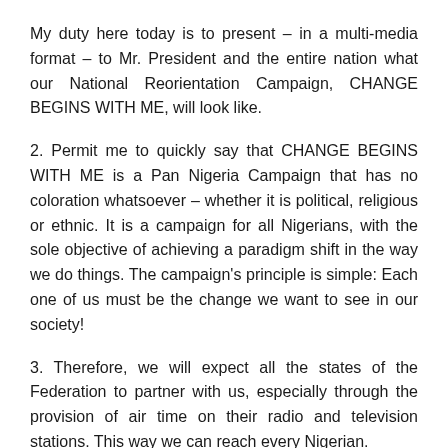My duty here today is to present – in a multi-media format – to Mr. President and the entire nation what our National Reorientation Campaign, CHANGE BEGINS WITH ME, will look like.
2. Permit me to quickly say that CHANGE BEGINS WITH ME is a Pan Nigeria Campaign that has no coloration whatsoever – whether it is political, religious or ethnic. It is a campaign for all Nigerians, with the sole objective of achieving a paradigm shift in the way we do things. The campaign's principle is simple: Each one of us must be the change we want to see in our society!
3. Therefore, we will expect all the states of the Federation to partner with us, especially through the provision of air time on their radio and television stations. This way we can reach every Nigerian.